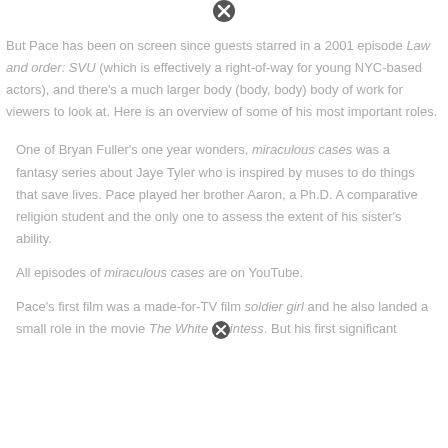[Figure (other): Close/cancel icon - circle with X]
But Pace has been on screen since guests starred in a 2001 episode Law and order: SVU (which is effectively a right-of-way for young NYC-based actors), and there's a much larger body (body, body) body of work for viewers to look at. Here is an overview of some of his most important roles.
One of Bryan Fuller's one year wonders, miraculous cases was a fantasy series about Jaye Tyler who is inspired by muses to do things that save lives. Pace played her brother Aaron, a Ph.D. A comparative religion student and the only one to assess the extent of his sister's ability.
All episodes of miraculous cases are on YouTube.
Pace's first film was a made-for-TV film soldier girl and he also landed a small role in the movie The White [icon] intess. But his first significant